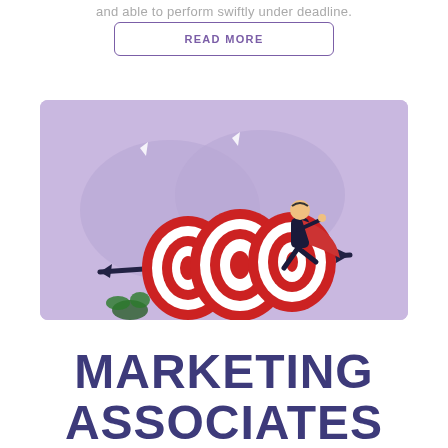and able to perform swiftly under deadline.
READ MORE
[Figure (illustration): Illustration on a purple/lavender background showing three red-and-white archery targets pierced by an arrow, with a superhero businessman in a red cape leaping over them. Two speech bubble shapes appear in the background.]
MARKETING ASSOCIATES